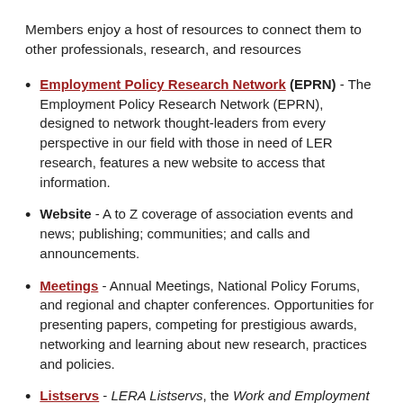Members enjoy a host of resources to connect them to other professionals, research, and resources
Employment Policy Research Network (EPRN) - The Employment Policy Research Network (EPRN), designed to network thought-leaders from every perspective in our field with those in need of LER research, features a new website to access that information.
Website - A to Z coverage of association events and news; publishing; communities; and calls and announcements.
Meetings - Annual Meetings, National Policy Forums, and regional and chapter conferences. Opportunities for presenting papers, competing for prestigious awards, networking and learning about new research, practices and policies.
Listservs - LERA Listservs, the Work and Employment